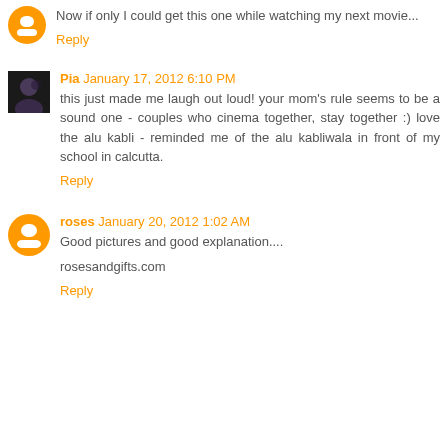Now if only I could get this one while watching my next movie...
Reply
Pia January 17, 2012 6:10 PM
this just made me laugh out loud! your mom's rule seems to be a sound one - couples who cinema together, stay together :) love the alu kabli - reminded me of the alu kabliwala in front of my school in calcutta.
Reply
roses January 20, 2012 1:02 AM
Good pictures and good explanation....
rosesandgifts.com
Reply